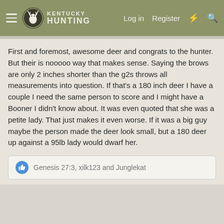Kentucky Hunting — Log in | Register
First and foremost, awesome deer and congrats to the hunter. But their is nooooo way that makes sense. Saying the brows are only 2 inches shorter than the g2s throws all measurements into question. If that's a 180 inch deer I have a couple I need the same person to score and I might have a Booner I didn't know about. It was even quoted that she was a petite lady. That just makes it even worse. If it was a big guy maybe the person made the deer look small, but a 180 deer up against a 95lb lady would dwarf her.
Genesis 27:3, xilk123 and Junglekat